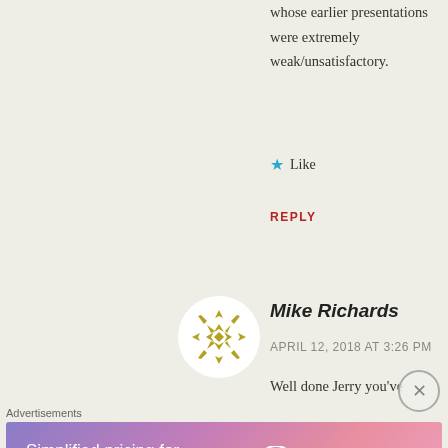whose earlier presentations were extremely weak/unsatisfactory.
★ Like
REPLY
[Figure (illustration): Circular avatar icon with gold/olive geometric star pattern on white background]
Mike Richards
APRIL 12, 2018 AT 3:26 PM
Well done Jerry you've
Advertisements
[Figure (infographic): WordPress.com advertisement banner with gradient purple/pink background. Text: 'Simplified pricing for everything you need.' with WordPress.com logo]